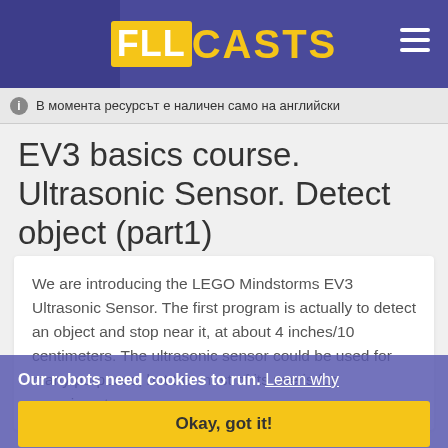FLL CASTS
В момента ресурсът е наличен само на английски
EV3 basics course. Ultrasonic Sensor. Detect object (part1)
We are introducing the LEGO Mindstorms EV3 Ultrasonic Sensor. The first program is actually to detect an object and stop near it, at about 4 inches/10 centimeters. The ultrasonic sensor could be used for many purposes, but the most of its use is for experiments.
Our robots need cookies to run. Learn why
Okay, got it!
[Figure (photo): Photo of LEGO Mindstorms EV3 robot with yellow and purple components visible at the bottom of the page]